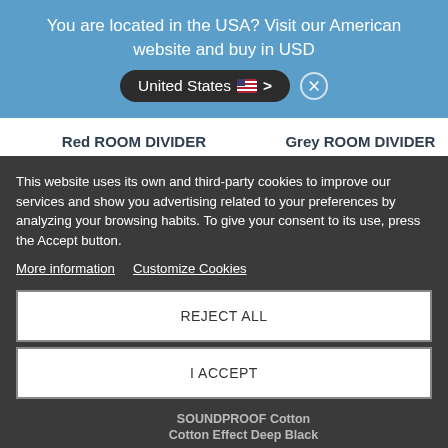You are located in the USA? Visit our American website and buy in USD   United States  >  ×
Red ROOM DIVIDER & SOUNDPROOF Cotton Effect Garnet MC330
Grey ROOM DIVIDER & SOUNDPROOF Cotton Effect Cloud MC09
RECENTLY VIEWED
This website uses its own and third-party cookies to improve our services and show you advertising related to your preferences by analyzing your browsing habits. To give your consent to its use, press the Accept button.
More information   Customize Cookies
REJECT ALL
I ACCEPT
SOUNDPROOF Cotton Effect Deep Black